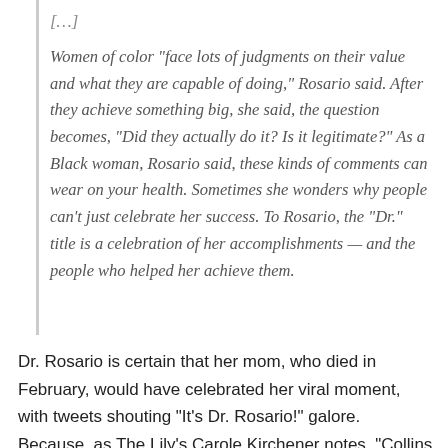[...]
Women of color “face lots of judgments on their value and what they are capable of doing,” Rosario said. After they achieve something big, she said, the question becomes, “Did they actually do it? Is it legitimate?” As a Black woman, Rosario said, these kinds of comments can wear on your health. Sometimes she wonders why people can’t just celebrate her success. To Rosario, the “Dr.” title is a celebration of her accomplishments — and the people who helped her achieve them.
Dr. Rosario is certain that her mom, who died in February, would have celebrated her viral moment, with tweets shouting “It’s Dr. Rosario!” galore. Because, as The Lily’s Carole Kirchener notes, “Collins told Rosario that her title ‘didn’t matter.’ It mattered